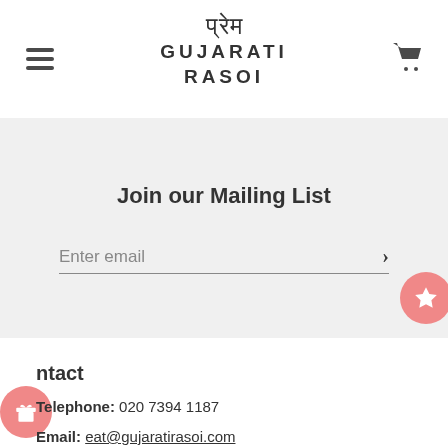प्रेम GUJARATI RASOI
Join our Mailing List
Enter email
Contact
Telephone: 020 7394 1187
Email: eat@gujaratirasoi.com